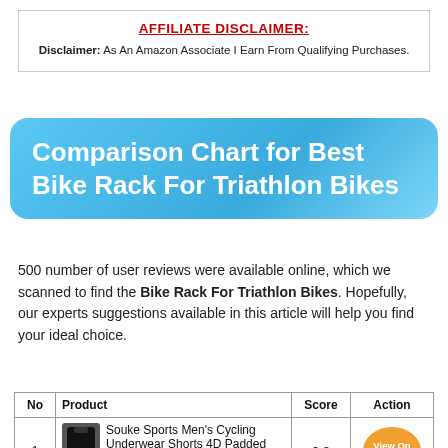AFFILIATE DISCLAIMER:
Disclaimer: As An Amazon Associate I Earn From Qualifying Purchases.
Comparison Chart for Best Bike Rack For Triathlon Bikes
500 number of user reviews were available online, which we scanned to find the Bike Rack For Triathlon Bikes. Hopefully, our experts suggestions available in this article will help you find your ideal choice.
| No | Product | Score | Action |
| --- | --- | --- | --- |
| 1 | Souke Sports Men's Cycling Underwear Shorts 4D Padded Bike Bicycle MTB Liner Shorts with Anti-Slip... | 9.8 | View On Amazon |